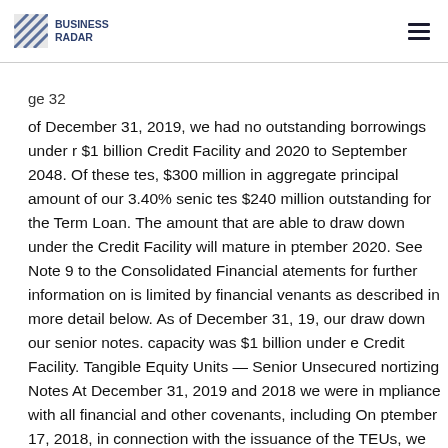BUSINESS RADAR
ge 32
of December 31, 2019, we had no outstanding borrowings under r $1 billion Credit Facility and 2020 to September 2048. Of these tes, $300 million in aggregate principal amount of our 3.40% senic tes $240 million outstanding for the Term Loan. The amount that are able to draw down under the Credit Facility will mature in ptember 2020. See Note 9 to the Consolidated Financial atements for further information on is limited by financial venants as described in more detail below. As of December 31, 19, our draw down our senior notes. capacity was $1 billion under e Credit Facility. Tangible Equity Units — Senior Unsecured nortizing Notes At December 31, 2019 and 2018 we were in mpliance with all financial and other covenants, including On ptember 17, 2018, in connection with the issuance of the TEUs, we